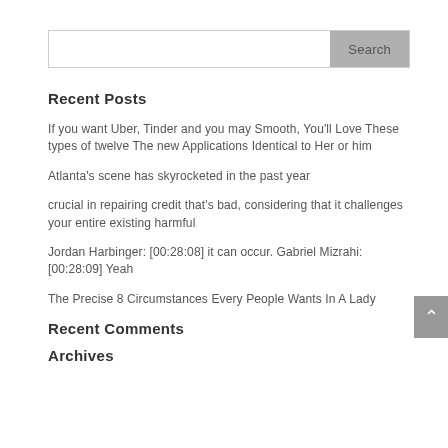Search
Recent Posts
If you want Uber, Tinder and you may Smooth, You'll Love These types of twelve The new Applications Identical to Her or him
Atlanta's scene has skyrocketed in the past year
crucial in repairing credit that's bad, considering that it challenges your entire existing harmful
Jordan Harbinger: [00:28:08] it can occur. Gabriel Mizrahi: [00:28:09] Yeah
The Precise 8 Circumstances Every People Wants In A Lady
Recent Comments
Archives